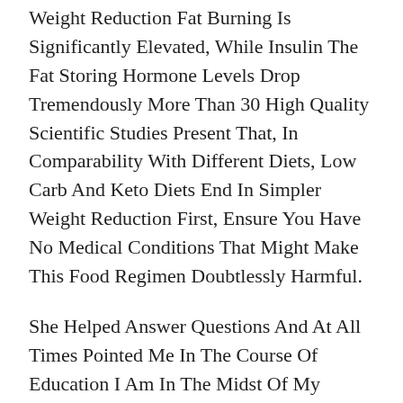Weight Reduction Fat Burning Is Significantly Elevated, While Insulin The Fat Storing Hormone Levels Drop Tremendously More Than 30 High Quality Scientific Studies Present That, In Comparability With Different Diets, Low Carb And Keto Diets End In Simpler Weight Reduction First, Ensure You Have No Medical Conditions That Might Make This Food Regimen Doubtlessly Harmful.
She Helped Answer Questions And At All Times Pointed Me In The Course Of Education I Am In The Midst Of My Journey And Really Feel Like New Things To Be Addressed Pop Up Nonetheless But I Am So Much Farther Along Than I Ever Thought I Could Be We Are Working Best doctor weight loss With Specialists Who Are Extremely Experienced In Best Protein Powder For Weight Loss Epilepsy And Cancer As Nicely We Provide